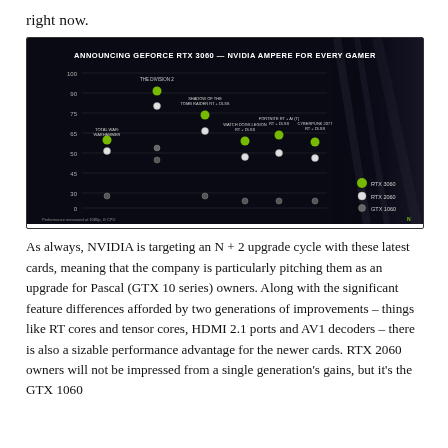right now.
[Figure (screenshot): NVIDIA slide: 'Announcing GeForce RTX 3060 — NVIDIA Ampere for Every Gamer'. Dark background scatter/dot chart comparing FPS performance across multiple games (The Division 2, Shadow of the Tomb Raider, Watch Dogs Legion, Fortnite, Cyberpunk 2077, Total War) for RTX 3060, RTX 2060, and GTX 1060. Y-axis shows frame rates from 0 to 100. Legend shows green dot = RTX 3060, white dot = RTX 2060, grey dot = GTX 1060. Bottom footnote: Performance measured at 1080p, i9 CPU.]
As always, NVIDIA is targeting an N + 2 upgrade cycle with these latest cards, meaning that the company is particularly pitching them as an upgrade for Pascal (GTX 10 series) owners. Along with the significant feature differences afforded by two generations of improvements – things like RT cores and tensor cores, HDMI 2.1 ports and AV1 decoders – there is also a sizable performance advantage for the newer cards. RTX 2060 owners will not be impressed from a single generation's gains, but it's the GTX 1060